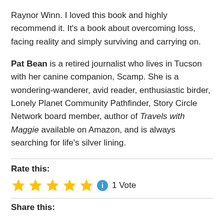Raynor Winn. I loved this book and highly recommend it. It's a book about overcoming loss, facing reality and simply surviving and carrying on.
Pat Bean is a retired journalist who lives in Tucson with her canine companion, Scamp. She is a wondering-wanderer, avid reader, enthusiastic birder, Lonely Planet Community Pathfinder, Story Circle Network board member, author of Travels with Maggie available on Amazon, and is always searching for life's silver lining.
Rate this:
[Figure (other): Five gold stars followed by a blue info icon and the text '1 Vote']
Share this: